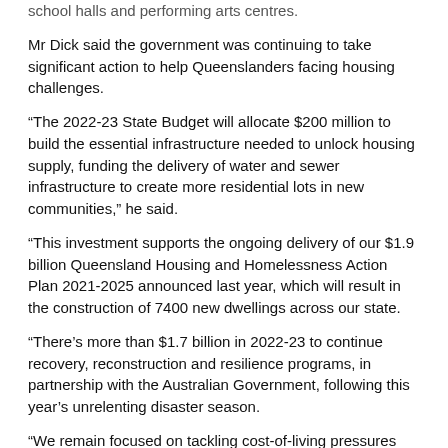school halls and performing arts centres.
Mr Dick said the government was continuing to take significant action to help Queenslanders facing housing challenges.
“The 2022-23 State Budget will allocate $200 million to build the essential infrastructure needed to unlock housing supply, funding the delivery of water and sewer infrastructure to create more residential lots in new communities,” he said.
“This investment supports the ongoing delivery of our $1.9 billion Queensland Housing and Homelessness Action Plan 2021-2025 announced last year, which will result in the construction of 7400 new dwellings across our state.
“There’s more than $1.7 billion in 2022-23 to continue recovery, reconstruction and resilience programs, in partnership with the Australian Government, following this year’s unrelenting disaster season.
“We remain focused on tackling cost-of-living pressures too, with $6.8 billion available for a range of health, energy, water, transport and housing concessions, a 10 per cent funding increase that includes $385 million for this year’s $175 cost of living rebate.”
Other key investments in the 2022-23 Queensland Budget include:
$262.5 million to support the growth, better management and sustainability of the state’s protected areas
$263 million to respond to the recommendations of the